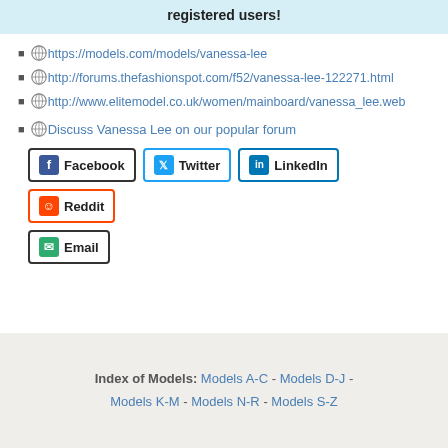registered users!
https://models.com/models/vanessa-lee
http://forums.thefashionspot.com/f52/vanessa-lee-122271.html
http://www.elitemodel.co.uk/women/mainboard/vanessa_lee.web
Discuss Vanessa Lee on our popular forum
[Figure (infographic): Social share buttons: Facebook, Twitter, LinkedIn, Reddit, Email]
Index of Models: Models A-C - Models D-J - Models K-M - Models N-R - Models S-Z